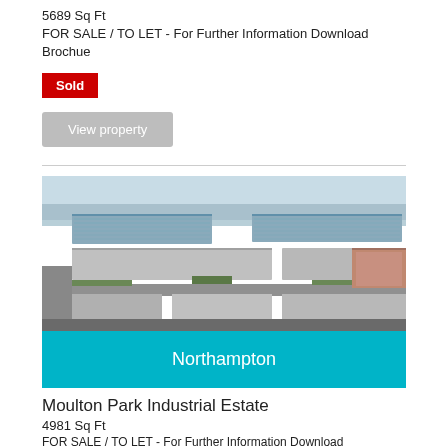5689 Sq Ft
FOR SALE / TO LET - For Further Information Download Brochue
Sold
View property
[Figure (photo): Aerial view of Moulton Park Industrial Estate in Northampton showing large warehouse buildings with blue roofs and surrounding roads and greenery]
Northampton
Moulton Park Industrial Estate
4981 Sq Ft
FOR SALE / TO LET - For Further Information Download